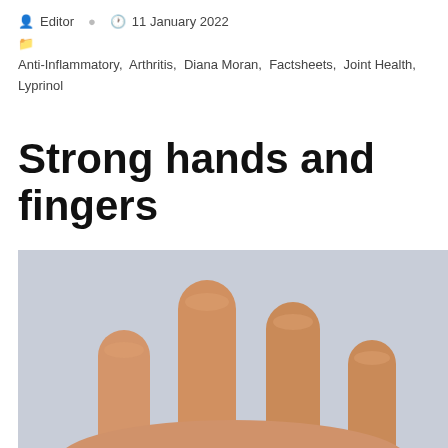Editor  11 January 2022
Anti-Inflammatory, Arthritis, Diana Moran, Factsheets, Joint Health, Lyprinol
Strong hands and fingers
[Figure (photo): Close-up photo of human fingers against a light grey background, showing fingers pointing upward]